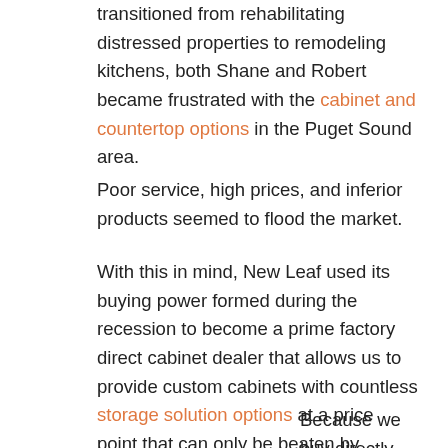transitioned from rehabilitating distressed properties to remodeling kitchens, both Shane and Robert became frustrated with the cabinet and countertop options in the Puget Sound area.
Poor service, high prices, and inferior products seemed to flood the market.
With this in mind, New Leaf used its buying power formed during the recession to become a prime factory direct cabinet dealer that allows us to provide custom cabinets with countless storage solution options at a price point that can only be beaten by Chinese or off the shelf goods.
Because we buy directly from a state